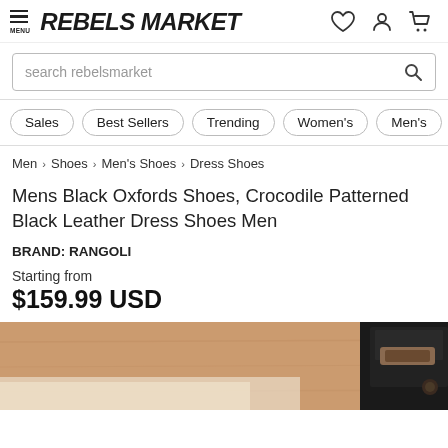REBELS MARKET
search rebelsmarket
Sales
Best Sellers
Trending
Women's
Men's
Men > Shoes > Men's Shoes > Dress Shoes
Mens Black Oxfords Shoes, Crocodile Patterned Black Leather Dress Shoes Men
BRAND: RANGOLI
Starting from
$159.99 USD
[Figure (photo): Partial view of black crocodile-patterned leather dress shoes on a wooden surface]